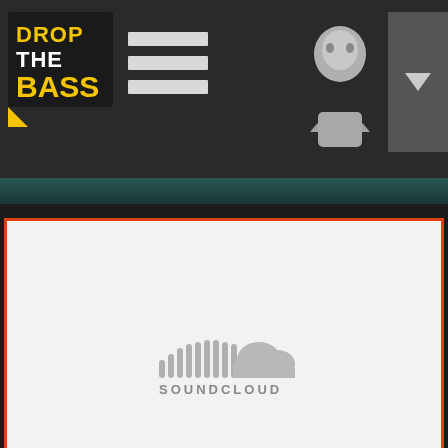[Figure (logo): Drop The Bass logo in yellow and white text on dark background]
[Figure (infographic): Hamburger menu icon - three horizontal white bars]
[Figure (illustration): Gray avatar/user profile icon (humanoid figure)]
[Figure (illustration): Gray dropdown arrow button]
[Figure (infographic): SoundCloud embedded player area with SoundCloud logo (cloud with sound bars) on light gray background, orange border]
Privacy policy
Свежий выпуск подкаста лейбла Fokuz ознаменовался
гостевым миксом, записанным московским продюсером Bert I...
[Figure (logo): Drop The Bass Radio small logo]
[Figure (illustration): Play button - circle with triangle inside, gold/orange border]
Tra
01. Mr. Joseph ft. Identified - Heartless